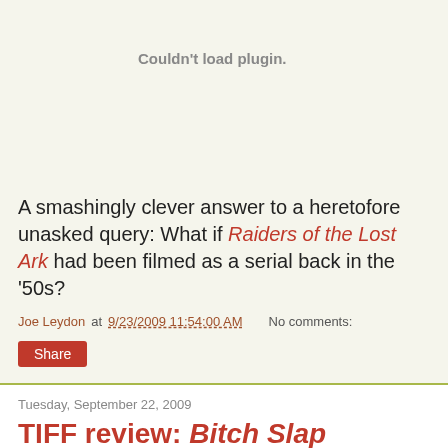[Figure (other): Plugin placeholder area showing 'Couldn't load plugin.' message in gray text]
A smashingly clever answer to a heretofore unasked query: What if Raiders of the Lost Ark had been filmed as a serial back in the '50s?
Joe Leydon at 9/23/2009 11:54:00 AM    No comments:
Share
Tuesday, September 22, 2009
TIFF review: Bitch Slap
[Figure (photo): Movie promotional image with text 'Prepare to get slapped...']